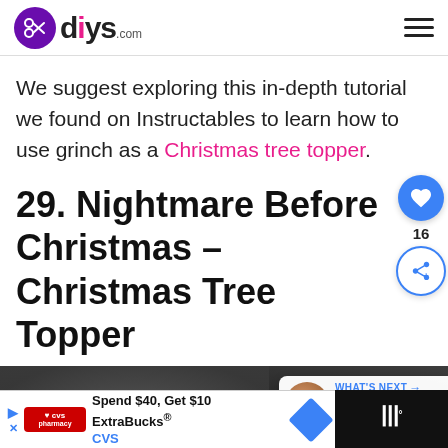diys.com
We suggest exploring this in-depth tutorial we found on Instructables to learn how to use grinch as a Christmas tree topper.
29. Nightmare Before Christmas – Christmas Tree Topper
[Figure (photo): Dark close-up photo used as background for the Nightmare Before Christmas Christmas Tree Topper section, with a 'What's Next' overlay widget showing '50 Awesome Christmas...']
Spend $40, Get $10 ExtraBucks® CVS [advertisement]